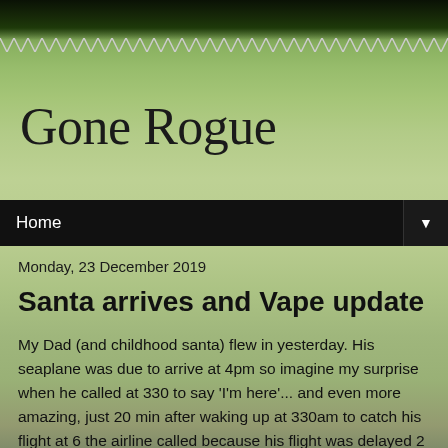Gone Rogue
Home
Monday, 23 December 2019
Santa arrives and Vape update
My Dad (and childhood santa) flew in yesterday. His seaplane was due to arrive at 4pm so imagine my surprise when he called at 330 to say 'I'm here'... and even more amazing, just 20 min after waking up at 330am to catch his flight at 6 the airline called because his flight was delayed 2 hours... yet he still managed to get across the country and arrive half hour early.... during Xmas. I forgot to ask what airline did this amazing feat but will inquire today.
We got him all set up in his cabin, plenty of Xmas treats, a